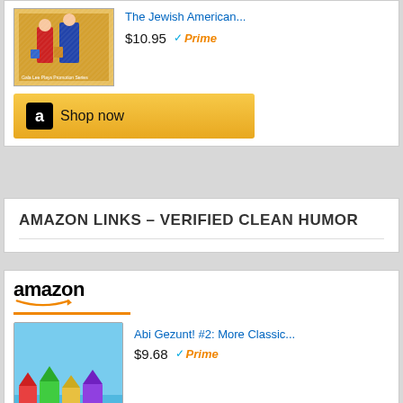[Figure (screenshot): Amazon product widget showing 'The Jewish American...' book priced at $10.95 with Prime badge and Shop now button]
AMAZON LINKS – VERIFIED CLEAN HUMOR
[Figure (screenshot): Amazon product widget showing 'Abi Gezunt! #2: More Classic...' book priced at $9.68 with Prime badge, with Amazon logo and smile arrow]